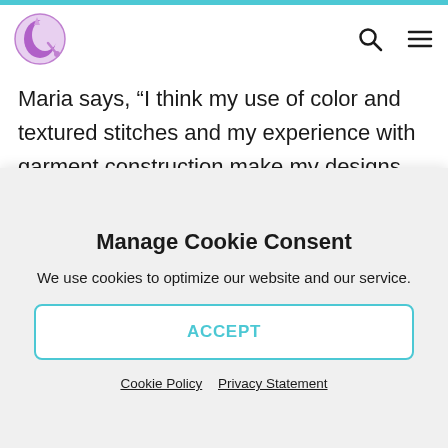[Logo] [Search icon] [Menu icon]
Maria says, “I think my use of color and textured stitches and my experience with garment construction make my designs functional and pretty, with a nod to the classics. I love taking something that is old (like an A-line jumper) and making it new and fresh with today’s sensibilities in mind.” Maria designs a variety of items for the
Manage Cookie Consent
We use cookies to optimize our website and our service.
ACCEPT
Cookie Policy   Privacy Statement